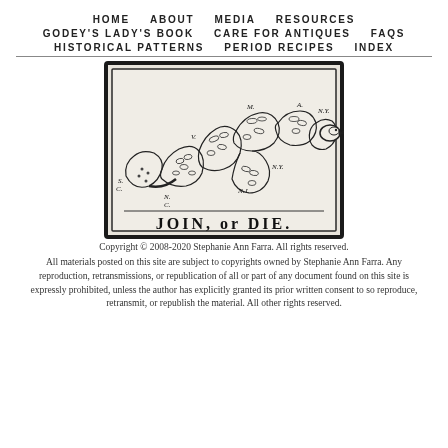HOME   ABOUT   MEDIA   RESOURCES   GODEY'S LADY'S BOOK   CARE FOR ANTIQUES   FAQS   HISTORICAL PATTERNS   PERIOD RECIPES   INDEX
[Figure (illustration): Historical 'JOIN, or DIE.' woodcut cartoon showing a segmented snake, attributed to Benjamin Franklin, with colonial state abbreviations labeled on each segment. Text below reads 'JOIN, or DIE.']
Copyright © 2008-2020 Stephanie Ann Farra. All rights reserved.
All materials posted on this site are subject to copyrights owned by Stephanie Ann Farra. Any reproduction, retransmissions, or republication of all or part of any document found on this site is expressly prohibited, unless the author has explicitly granted its prior written consent to so reproduce, retransmit, or republish the material. All other rights reserved.